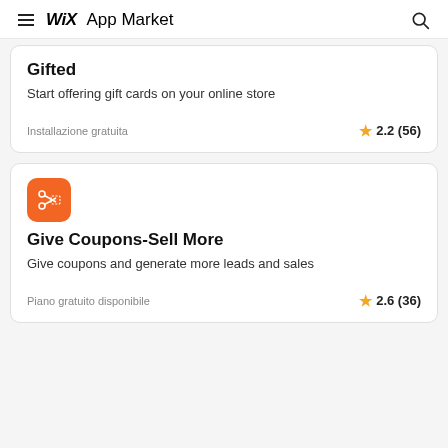WiX App Market
Gifted
Start offering gift cards on your online store
Installazione gratuita
2.2 (56)
[Figure (logo): Orange square icon with scissors and dashed rectangle for Give Coupons-Sell More app]
Give Coupons-Sell More
Give coupons and generate more leads and sales
Piano gratuito disponibile
2.6 (36)